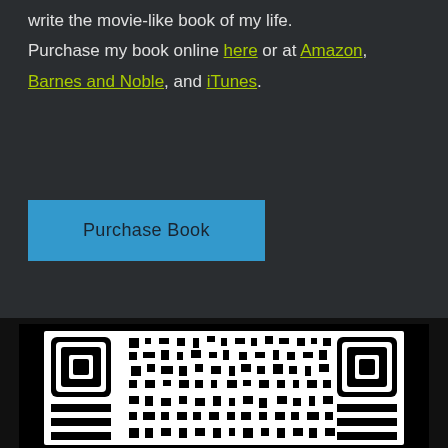write the movie-like book of my life. Purchase my book online here or at Amazon, Barnes and Noble, and iTunes.
[Figure (other): Blue 'Purchase Book' button]
[Figure (other): QR code on black background]